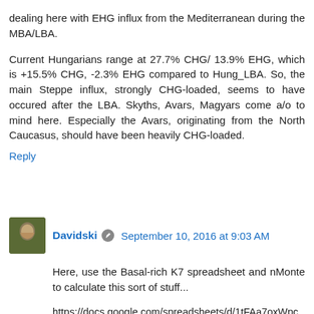dealing here with EHG influx from the Mediterranean during the MBA/LBA.
Current Hungarians range at 27.7% CHG/ 13.9% EHG, which is +15.5% CHG, -2.3% EHG compared to Hung_LBA. So, the main Steppe influx, strongly CHG-loaded, seems to have occured after the LBA. Skyths, Avars, Magyars come a/o to mind here. Especially the Avars, originating from the North Caucasus, should have been heavily CHG-loaded.
Reply
Davidski  September 10, 2016 at 9:03 AM
Here, use the Basal-rich K7 spreadsheet and nMonte to calculate this sort of stuff...
https://docs.google.com/spreadsheets/d/1tFAa7oxWpcNN-OdMMjBdb4NeWKG7EkpKMzZJVW2_MME/edit?usp=sharing
Reply